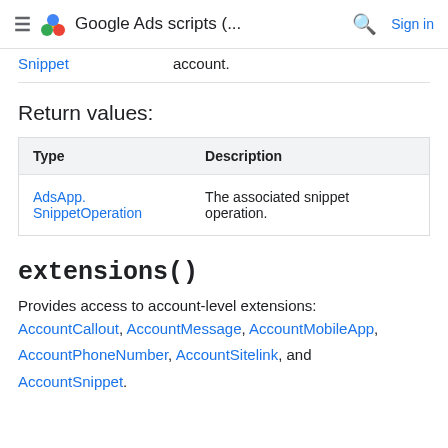≡ Google Ads scripts (... 🔍 Sign in
|  |  |
| --- | --- |
| Snippet | account. |
Return values:
| Type | Description |
| --- | --- |
| AdsApp.SnippetOperation | The associated snippet operation. |
extensions()
Provides access to account-level extensions: AccountCallout, AccountMessage, AccountMobileApp, AccountPhoneNumber, AccountSitelink, and AccountSnippet.